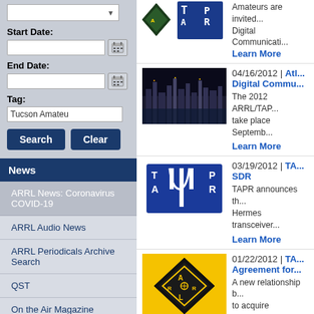Start Date:
End Date:
Tag: Tucson Amateu
Search | Clear
News
ARRL News: Coronavirus COVID-19
ARRL Audio News
ARRL Periodicals Archive Search
QST
On the Air Magazine
QEX
NCJ
[Figure (other): TAPR logo and ARRL diamond logo at top]
Amateurs are invited... Digital Communicati...
Learn More
[Figure (photo): City skyline at night]
04/16/2012 | Atl... Digital Commu...
The 2012 ARRL/TAP... take place Septemb...
Learn More
[Figure (logo): TAPR logo blue]
03/19/2012 | TA... SDR
TAPR announces th... Hermes transceiver...
Learn More
[Figure (logo): ARRL diamond logo on yellow background]
01/22/2012 | TA... Agreement for...
A new relationship b... to acquire compone... experimentation.
Learn More